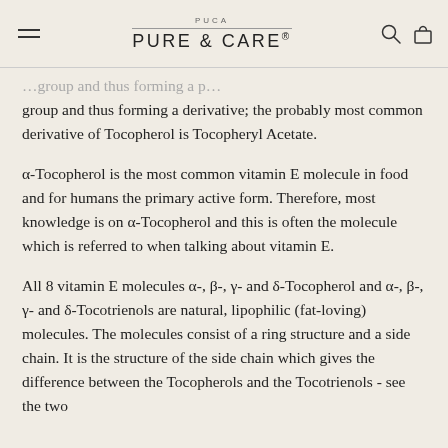PUCA PURE & CARE®
group and thus forming a derivative; the probably most common derivative of Tocopherol is Tocopheryl Acetate.
α-Tocopherol is the most common vitamin E molecule in food and for humans the primary active form. Therefore, most knowledge is on α-Tocopherol and this is often the molecule which is referred to when talking about vitamin E.
All 8 vitamin E molecules α-, β-, γ- and δ-Tocopherol and α-, β-, γ- and δ-Tocotrienols are natural, lipophilic (fat-loving) molecules. The molecules consist of a ring structure and a side chain. It is the structure of the side chain which gives the difference between the Tocopherols and the Tocotrienols - see the two structures in Figure 1. The difference between the α-